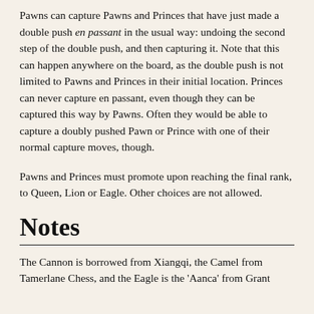Pawns can capture Pawns and Princes that have just made a double push en passant in the usual way: undoing the second step of the double push, and then capturing it. Note that this can happen anywhere on the board, as the double push is not limited to Pawns and Princes in their initial location. Princes can never capture en passant, even though they can be captured this way by Pawns. Often they would be able to capture a doubly pushed Pawn or Prince with one of their normal capture moves, though.
Pawns and Princes must promote upon reaching the final rank, to Queen, Lion or Eagle. Other choices are not allowed.
Notes
The Cannon is borrowed from Xiangqi, the Camel from Tamerlane Chess, and the Eagle is the 'Aanca' from Grant